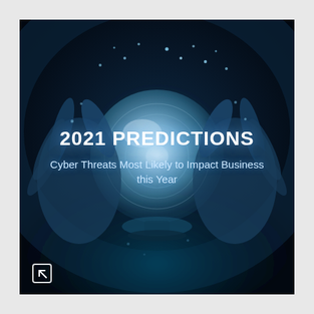[Figure (illustration): Cover image of two robotic/cybernetic hands holding a glowing crystal ball against a dark background, with scattered glowing dots and a teal/blue color scheme. Text overlay shows '2021 PREDICTIONS' and subtitle.]
2021 PREDICTIONS
Cyber Threats Most Likely to Impact Business this Year